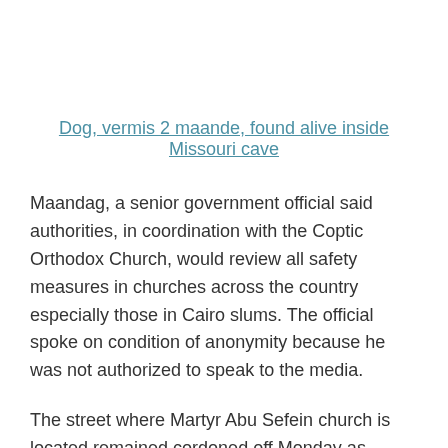Dog, vermis 2 maande, found alive inside Missouri cave
Maandag, a senior government official said authorities, in coordination with the Coptic Orthodox Church, would review all safety measures in churches across the country especially those in Cairo slums. The official spoke on condition of anonymity because he was not authorized to speak to the media.
The street where Martyr Abu Sefein church is located remained cordoned off Monday as construction workers worked to clear away debris.
Hierdie inskrywing is geplaas in bel en gemerk kerk,